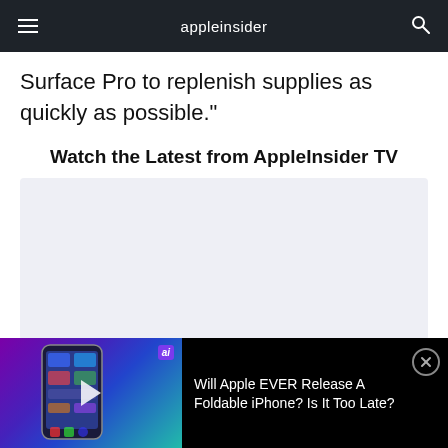appleinsider
Surface Pro to replenish supplies as quickly as possible."
Watch the Latest from AppleInsider TV
[Figure (screenshot): Light gray video placeholder area]
[Figure (screenshot): Mini video player bar at the bottom showing a foldable iPhone concept image with play button, ai badge, and title 'Will Apple EVER Release A Foldable iPhone? Is It Too Late?' with close button]